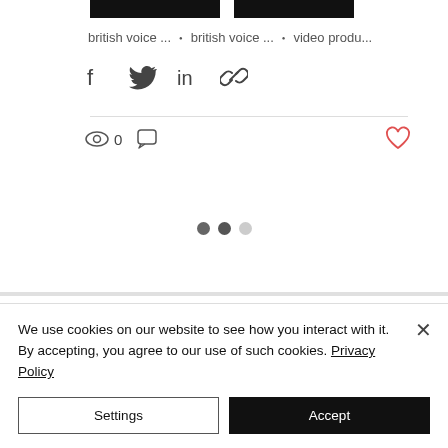[Figure (screenshot): Top black image thumbnails partially cropped]
british voice ... · british voice ... · video produ...
[Figure (infographic): Social share icons: Facebook, Twitter, LinkedIn, Link]
[Figure (infographic): View count (eye icon, 0), comment icon, heart/like button]
[Figure (infographic): Pagination dots: dark, dark, light]
We use cookies on our website to see how you interact with it. By accepting, you agree to our use of such cookies. Privacy Policy
Settings
Accept